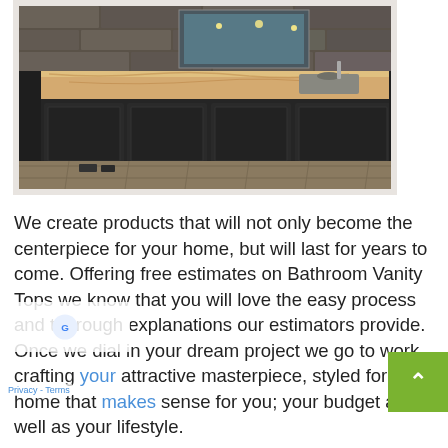[Figure (photo): Photo of a large dark kitchen island with a granite/marble countertop, black cabinetry, tile floor, and stone backsplash with lights visible in background mirror/window.]
We create products that will not only become the centerpiece for your home, but will last for years to come. Offering free estimates on Bathroom Vanity Tops we know that you will love the easy process and thorough explanations our estimators provide. Once we dial in your dream project we go to work crafting your attractive masterpiece, styled for your home that makes sense for you; your budget as well as your lifestyle.